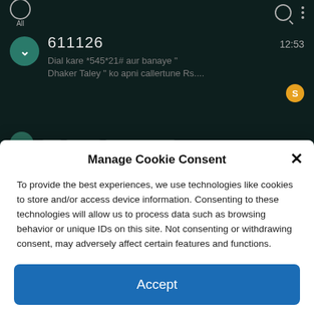[Figure (screenshot): Android messaging app screenshot showing a dark-themed SMS inbox. Top bar with circle icon labeled 'All', search icon, and vertical dots menu. A message from number 611126 at 12:53 reads: 'Dial kare *545*21# aur banaye " Dhaker Taley " ko apni callertune Rs....' with a teal avatar showing a chevron and a yellow badge 'S'.]
Manage Cookie Consent
To provide the best experiences, we use technologies like cookies to store and/or access device information. Consenting to these technologies will allow us to process data such as browsing behavior or unique IDs on this site. Not consenting or withdrawing consent, may adversely affect certain features and functions.
Accept
Cookie Policy   Privacy Policy   Contact Us